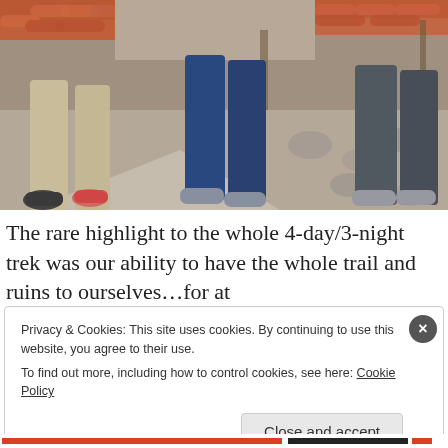[Figure (photo): Photo showing the lower bodies and feet of three hikers wearing hiking pants and trail shoes, standing on a stone-paved path. Structures with terracotta roof tiles visible in the background.]
The rare highlight to the whole 4-day/3-night trek was our ability to have the whole trail and ruins to ourselves…for at
Privacy & Cookies: This site uses cookies. By continuing to use this website, you agree to their use.
To find out more, including how to control cookies, see here: Cookie Policy
Close and accept